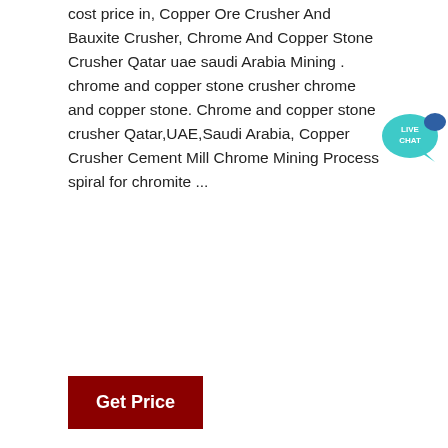cost price in, Copper Ore Crusher And Bauxite Crusher, Chrome And Copper Stone Crusher Qatar uae saudi Arabia Mining . chrome and copper stone crusher chrome and copper stone. Chrome and copper stone crusher Qatar,UAE,Saudi Arabia, Copper Crusher Cement Mill Chrome Mining Process spiral for chromite ...
[Figure (other): Live Chat speech bubble icon in teal/blue color with text LIVE CHAT]
Get Price
[Figure (photo): Photograph of an open mining site with excavation equipment, orange/brown soil, and trees in background. ACRUSHER Mining Equipment logo overlaid in bottom right.]
iron ore crushing and screening equipment in saudi arabia
Crusher and Grinding mill for